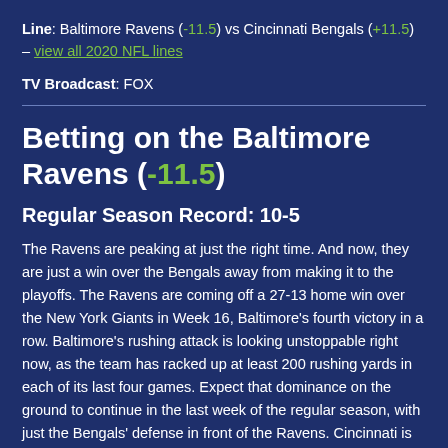Line: Baltimore Ravens (-11.5) vs Cincinnati Bengals (+11.5) – view all 2020 NFL lines
TV Broadcast: FOX
Betting on the Baltimore Ravens (-11.5)
Regular Season Record: 10-5
The Ravens are peaking at just the right time. And now, they are just a win over the Bengals away from making it to the playoffs. The Ravens are coming off a 27-13 home win over the New York Giants in Week 16, Baltimore's fourth victory in a row. Baltimore's rushing attack is looking unstoppable right now, as the team has racked up at least 200 rushing yards in each of its last four games. Expect that dominance on the ground to continue in the last week of the regular season, with just the Bengals' defense in front of the Ravens. Cincinnati is 25th in the NFL against the run with 131.1 rushing yards